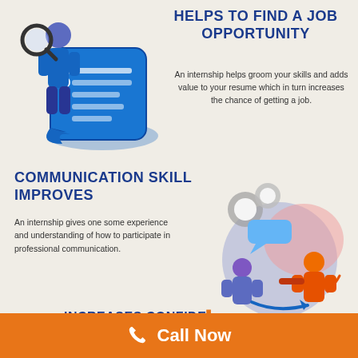[Figure (illustration): Person with magnifying glass standing next to a blue scroll/document with checkmarks]
HELPS TO FIND A JOB OPPORTUNITY
An internship helps groom your skills and adds value to your resume which in turn increases the chance of getting a job.
COMMUNICATION SKILL IMPROVES
An internship gives one some experience and understanding of how to participate in professional communication.
[Figure (illustration): Two people communicating with speech bubbles, gears, and blue circular background]
INCREASES CONFIDE...
Call Now